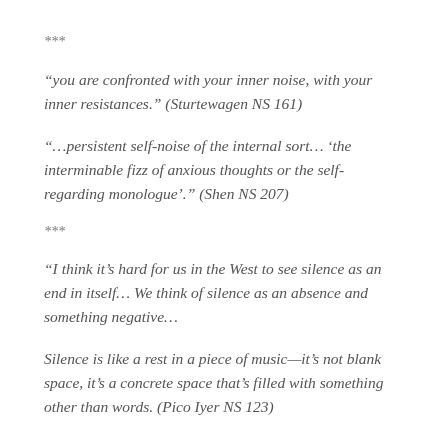***
“you are confronted with your inner noise, with your inner resistances.” (Sturtewagen NS 161)
“…persistent self-noise of the internal sort… ‘the interminable fizz of anxious thoughts or the self-regarding monologue’.” (Shen NS 207)
***
“I think it’s hard for us in the West to see silence as an end in itself… We think of silence as an absence and something negative…
Silence is like a rest in a piece of music—it’s not blank space, it’s a concrete space that’s filled with something other than words. (Pico Iyer NS 123)